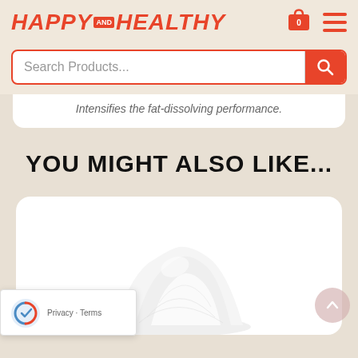HAPPY AND HEALTHY
Search Products...
Intensifies the fat-dissolving performance.
YOU MIGHT ALSO LIKE...
[Figure (photo): White powder product image on white background inside a rounded product card]
Privacy · Terms